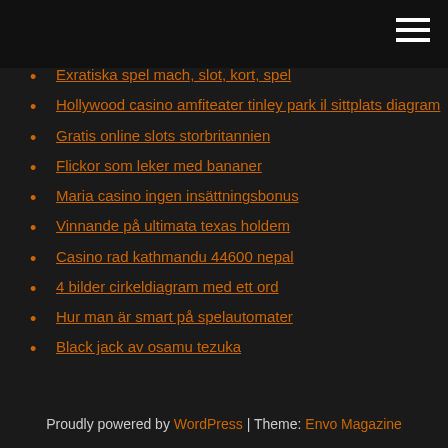Exratiska spel mach, slot, kort, spel
Hollywood casino amfiteater tinley park il sittplats diagram
Gratis online slots storbritannien
Flickor som leker med bananer
Maria casino ingen insättningsbonus
Vinnande på ultimata texas holdem
Casino rad kathmandu 44600 nepal
4 bilder cirkeldiagram med ett ord
Hur man är smart på spelautomater
Black jack av osamu tezuka
Proudly powered by WordPress | Theme: Envo Magazine